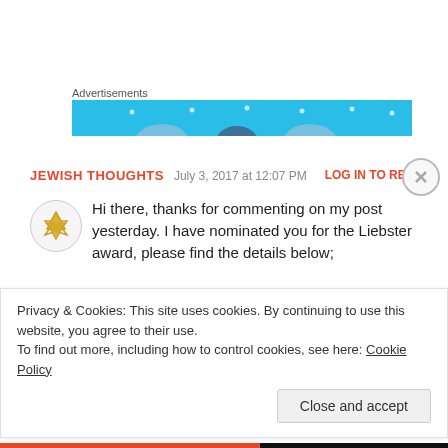Advertisements
[Figure (illustration): Cyan/blue advertisement banner with circular avatar silhouettes and dot decorations]
JEWISH THOUGHTS   July 3, 2017 at 12:07 PM   LOG IN TO REPLY
[Figure (illustration): Star of David avatar icon in gold on light circular background]
Hi there, thanks for commenting on my post yesterday. I have nominated you for the Liebster award, please find the details below;
Privacy & Cookies: This site uses cookies. By continuing to use this website, you agree to their use. To find out more, including how to control cookies, see here: Cookie Policy
Close and accept